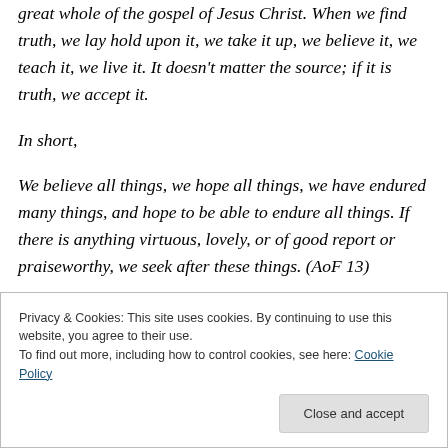great whole of the gospel of Jesus Christ. When we find truth, we lay hold upon it, we take it up, we believe it, we teach it, we live it. It doesn't matter the source; if it is truth, we accept it.
In short,
We believe all things, we hope all things, we have endured many things, and hope to be able to endure all things. If there is anything virtuous, lovely, or of good report or praiseworthy, we seek after these things. (AoF 13)
Privacy & Cookies: This site uses cookies. By continuing to use this website, you agree to their use.
To find out more, including how to control cookies, see here: Cookie Policy